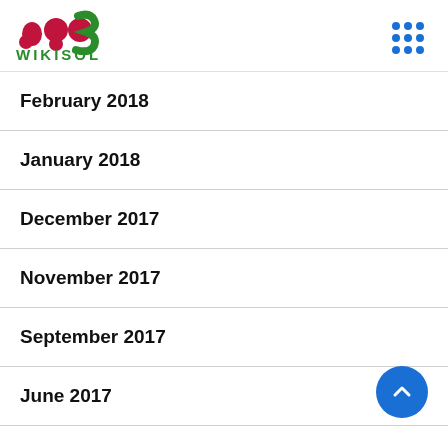[Figure (logo): Wikisol logo with stylized W graphic in pink/red and green, and text WIKISOL in green below]
February 2018
January 2018
December 2017
November 2017
September 2017
June 2017
December 2016